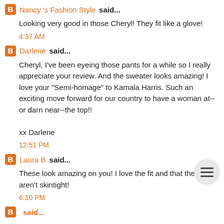Nancy 's Fashion Style said...
Looking very good in those Cheryl! They fit like a glove!
4:37 AM
Darlene said...
Cheryl, I've been eyeing those pants for a while so I really appreciate your review. And the sweater looks amazing! I love your "Semi-homage" to Kamala Harris. Such an exciting move forward for our country to have a woman at--or darn near--the top!!

xx Darlene
12:51 PM
Laura B said...
These look amazing on you! I love the fit and that the legs aren't skintight!
6:10 PM
said...